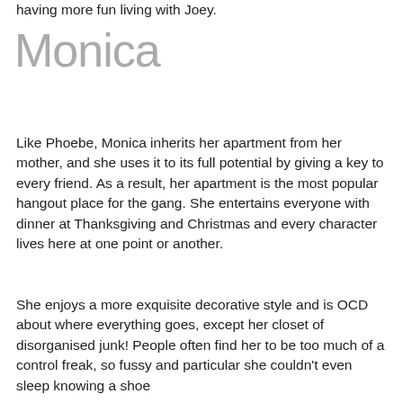having more fun living with Joey.
Monica
Like Phoebe, Monica inherits her apartment from her mother, and she uses it to its full potential by giving a key to every friend. As a result, her apartment is the most popular hangout place for the gang. She entertains everyone with dinner at Thanksgiving and Christmas and every character lives here at one point or another.
She enjoys a more exquisite decorative style and is OCD about where everything goes, except her closet of disorganised junk! People often find her to be too much of a control freak, so fussy and particular she couldn't even sleep knowing a shoe